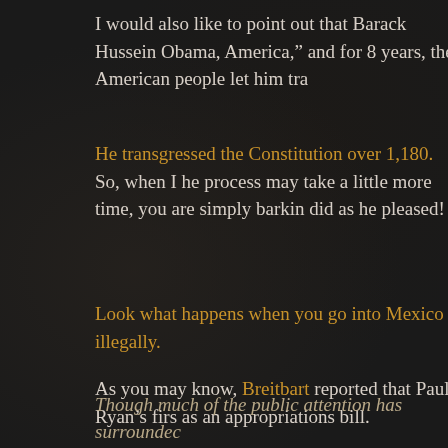I would also like to point out that Barack Hussein Obama, America,” and for 8 years, the American people let him tra
He transgressed the Constitution over 1,180. So, when I he process may take a little more time, you are simply barkin did as he pleased!
Look what happens when you go into Mexico illegally.
As you may know, Breitbart reported that Paul Ryan’s firs as an appropriations bill.
Though much of the public attention has surroundec